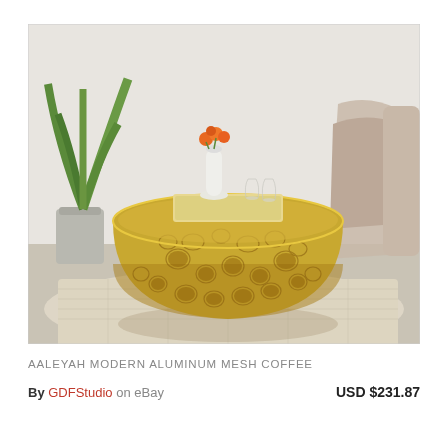[Figure (photo): A golden aluminum mesh coffee table with an organic lattice pattern, styled with a white vase of orange flowers, a serving tray, and glassware on top. Set in a living room with a plant and an upholstered chair in the background, on a patterned rug.]
AALEYAH MODERN ALUMINUM MESH COFFEE
By GDFStudio  on eBay    USD $231.87